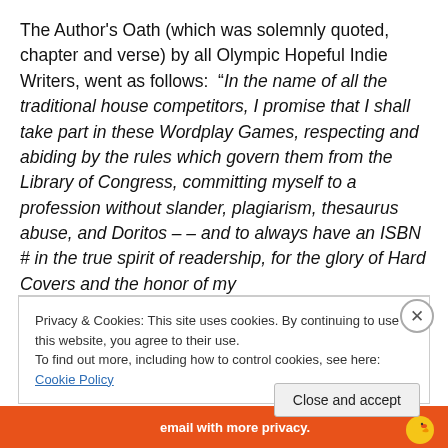The Author's Oath (which was solemnly quoted, chapter and verse) by all Olympic Hopeful Indie Writers, went as follows:  “In the name of all the traditional house competitors, I promise that I shall take part in these Wordplay Games, respecting and abiding by the rules which govern them from the Library of Congress, committing myself to a profession without slander, plagiarism, thesaurus abuse, and Doritos – – and to always have an ISBN # in the true spirit of readership, for the glory of Hard Covers and the honor of my
Privacy & Cookies: This site uses cookies. By continuing to use this website, you agree to their use.
To find out more, including how to control cookies, see here: Cookie Policy
Close and accept
[Figure (infographic): Orange bottom bar with white text 'email with more privacy.' and a duck logo icon on the right]